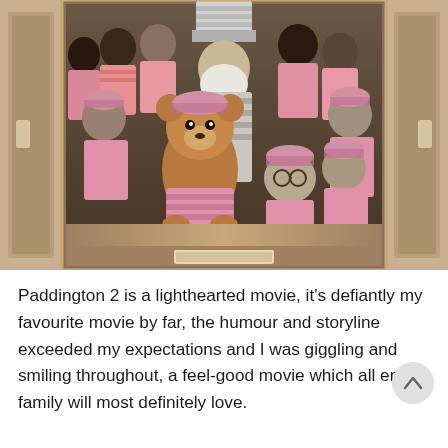[Figure (photo): A movie still from Paddington 2 showing Paddington Bear and a group of men dressed in pink striped prison uniforms, posing together inside what appears to be a wooden-framed elevator or cabinet. A tall white-bearded man in a striped chef's hat stands prominently in the center.]
Paddington 2 is a lighthearted movie, it's defiantly my favourite movie by far, the humour and storyline exceeded my expectations and I was giggling and smiling throughout, a feel-good movie which all entire family will most definitely love.